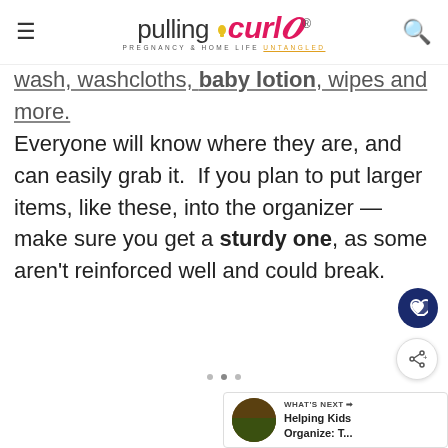pulling curls — PREGNANCY & HOME LIFE UNTANGLED
wash, washcloths, baby lotion, wipes and more. Everyone will know where they are, and can easily grab it.  If you plan to put larger items, like these, into the organizer — make sure you get a sturdy one, as some aren't reinforced well and could break.